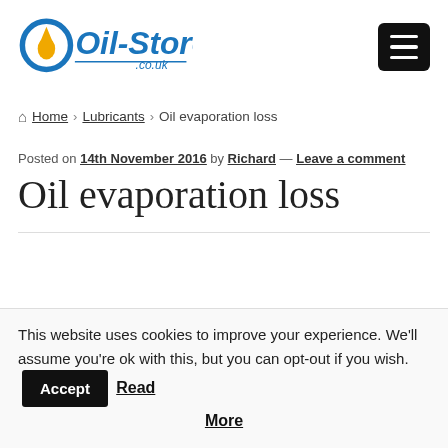[Figure (logo): Oil-Store.co.uk logo with blue circular icon featuring a gold oil drop, blue italic text 'Oil-Store' and '.co.uk' with a blue underline]
Home > Lubricants > Oil evaporation loss
Posted on 14th November 2016 by Richard — Leave a comment
Oil evaporation loss
This website uses cookies to improve your experience. We'll assume you're ok with this, but you can opt-out if you wish. Accept Read More